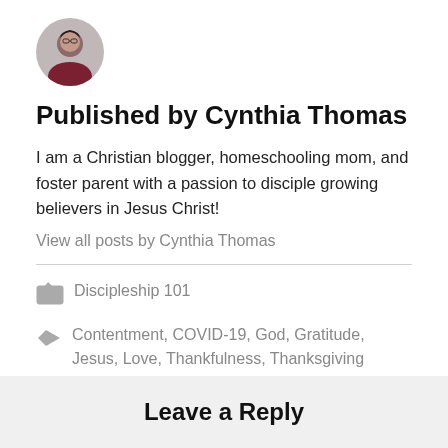[Figure (photo): Circular avatar photo of Cynthia Thomas, a woman with dark hair and glasses wearing a dark red top]
Published by Cynthia Thomas
I am a Christian blogger, homeschooling mom, and foster parent with a passion to disciple growing believers in Jesus Christ!
View all posts by Cynthia Thomas
Discipleship 101
Contentment, COVID-19, God, Gratitude, Jesus, Love, Thankfulness, Thanksgiving
Leave a Reply